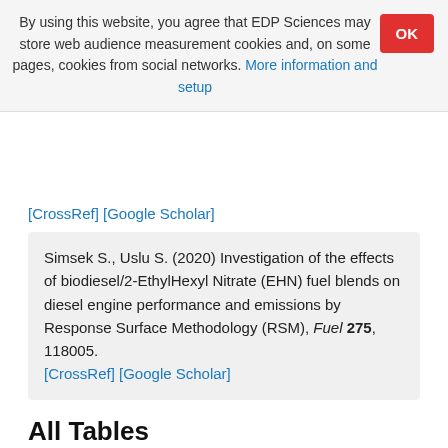By using this website, you agree that EDP Sciences may store web audience measurement cookies and, on some pages, cookies from social networks. More information and setup
[CrossRef] [Google Scholar]
Simsek S., Uslu S. (2020) Investigation of the effects of biodiesel/2-EthylHexyl Nitrate (EHN) fuel blends on diesel engine performance and emissions by Response Surface Methodology (RSM), Fuel 275, 118005. [CrossRef] [Google Scholar]
All Tables
Table 1   Properties of fuels [23, 31–33].
↑  In the text